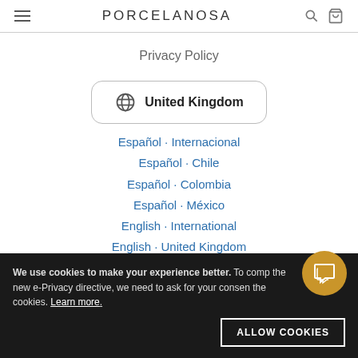PORCELANOSA
Privacy Policy
United Kingdom
Español · Internacional
Español · Chile
Español · Colombia
Español · México
English · International
English · United Kingdom
English · USA
We use cookies to make your experience better. To comply with the new e-Privacy directive, we need to ask for your consent to the cookies. Learn more.